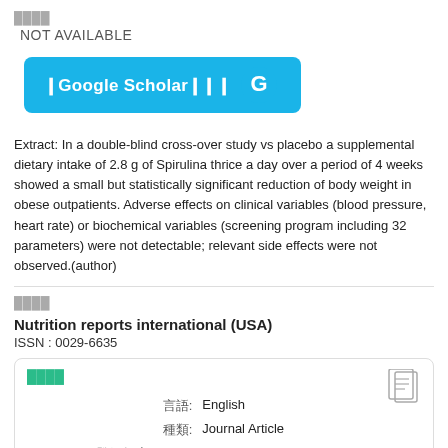████
NOT AVAILABLE
[Figure (other): Google Scholar search button with Google G logo in blue]
Extract: In a double-blind cross-over study vs placebo a supplemental dietary intake of 2.8 g of Spirulina thrice a day over a period of 4 weeks showed a small but statistically significant reduction of body weight in obese outpatients. Adverse effects on clinical variables (blood pressure, heart rate) or biochemical variables (screening program including 32 parameters) were not detectable; relevant side effects were not observed.(author)
████
Nutrition reports international (USA)
ISSN : 0029-6635
████
| 言語: | English |
| 種類: | Journal Article |
| 登録年度AGRIS: | 1987 |